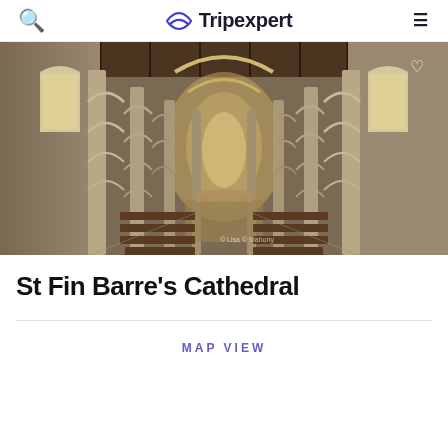Tripexpert
[Figure (photo): Interior of St Fin Barre's Cathedral showing the grand nave with tall stone arches, vaulted ceiling, ornate columns, wooden pews, and an elaborate altar at the far end. The photo is taken from an elevated perspective looking down the nave toward the chancel.]
St Fin Barre's Cathedral
MAP VIEW